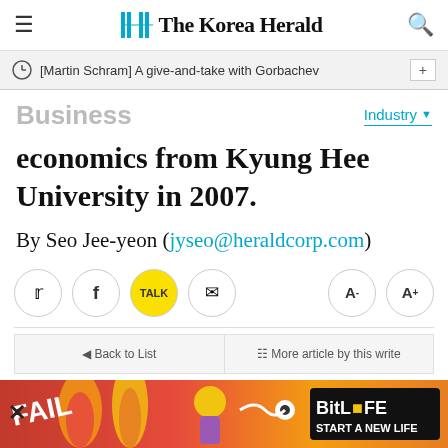The Korea Herald
[Martin Schram] A give-and-take with Gorbachev
Business
economics from Kyung Hee University in 2007.
By Seo Jee-yeon (jyseo@heraldcorp.com)
[Figure (screenshot): Social share buttons (Twitter, Facebook, KakaoTalk, Email) and font size controls (A-, A+)]
◄ Back to List
≡ More article by this write
[Figure (photo): BitLife advertisement banner with fire background and FAIL text]